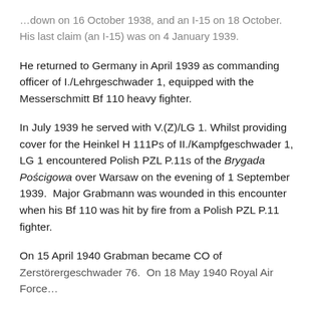…down on 16 October 1938, and an I-15 on 18 October. His last claim (an I-15) was on 4 January 1939.
He returned to Germany in April 1939 as commanding officer of I./Lehrgeschwader 1, equipped with the Messerschmitt Bf 110 heavy fighter.
In July 1939 he served with V.(Z)/LG 1. Whilst providing cover for the Heinkel H 111Ps of II./Kampfgeschwader 1, LG 1 encountered Polish PZL P.11s of the Brygada Pościgowa over Warsaw on the evening of 1 September 1939. Major Grabmann was wounded in this encounter when his Bf 110 was hit by fire from a Polish PZL P.11 fighter.
On 15 April 1940 Grabman became CO of Zerstörergeschwader 76. On 18 May 1940 Royal Air Force…